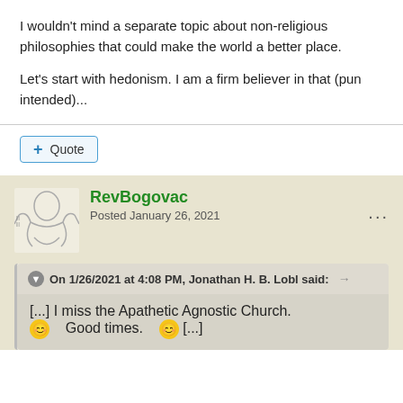I wouldn't mind a separate topic about non-religious philosophies that could make the world a better place.
Let's start with hedonism. I am a firm believer in that (pun intended)...
+ Quote
RevBogovac
Posted January 26, 2021
On 1/26/2021 at 4:08 PM, Jonathan H. B. Lobl said:
[...] I miss the Apathetic Agnostic Church. 😊 Good times. 😊 [...]